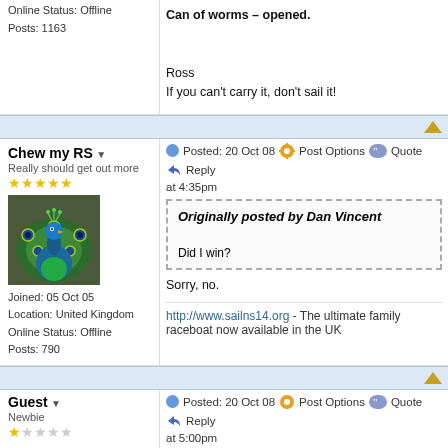Online Status: Offline
Posts: 1163
Can of worms – opened.
Ross
If you can't carry it, don't sail it!
Chew my RS
Really should get out more
Posted: 20 Oct 08 at 4:35pm   Post Options   Quote   Reply
Originally posted by Dan Vincent

Did I win?
Sorry, no.
http://www.sailns14.org - The ultimate family raceboat now available in the UK
Joined: 05 Oct 05
Location: United Kingdom
Online Status: Offline
Posts: 790
Guest
Newbie
Posted: 20 Oct 08 at 5:00pm   Post Options   Quote   Reply